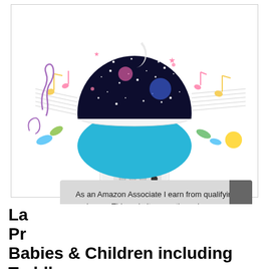[Figure (photo): A rotating star projector night light with a dark dome covered in stars and a crescent moon, a blue spherical base, white stand/base with A B C and DC5V controls, musical notes decorating the background on a white surface.]
As an Amazon Associate I earn from qualifying purchases. This website uses the only necessary cookies to ensure you get the best experience on our website. More information
La... Pr... Babies & Children including Toddlers,